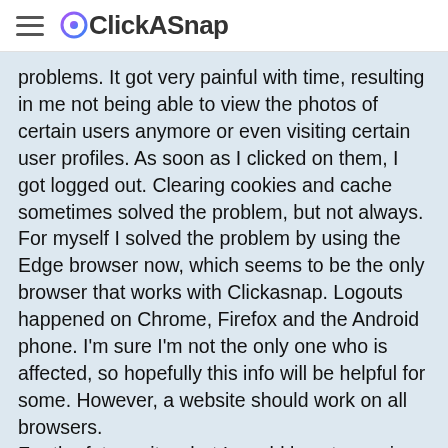ClickASnap
problems. It got very painful with time, resulting in me not being able to view the photos of certain users anymore or even visiting certain user profiles. As soon as I clicked on them, I got logged out. Clearing cookies and cache sometimes solved the problem, but not always. For myself I solved the problem by using the Edge browser now, which seems to be the only browser that works with Clickasnap. Logouts happened on Chrome, Firefox and the Android phone. I'm sure I'm not the only one who is affected, so hopefully this info will be helpful for some. However, a website should work on all browsers.
For the future site what I would love to see is a working search. I also see Clickasnap as a huge database of photos, and being able to search for certain things would be very helpful. Currently the search seems to work in a way that if I enter for example yellow rose, it will search for anything yellow and anything rose, so I will get yellow